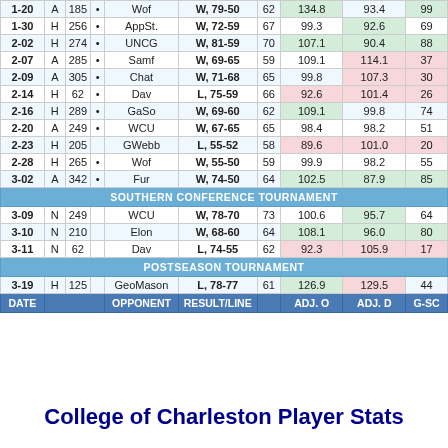| DATE | H/A | RNK | CONF | OPPONENT | RESULT/LINE | LINE | ADJ. O | ADJ. D | G-SC |
| --- | --- | --- | --- | --- | --- | --- | --- | --- | --- |
| 1-20 | A | 185 | • | Wof | W, 79-50 | 62 | 134.8 | 93.4 | 99 |
| 1-30 | H | 256 | • | AppSt. | W, 72-59 | 67 | 99.3 | 92.6 | 69 |
| 2-02 | H | 274 | • | UNCG | W, 81-59 | 70 | 107.1 | 90.4 | 88 |
| 2-07 | A | 285 | • | Samf | W, 69-65 | 59 | 109.1 | 114.1 | 37 |
| 2-09 | A | 305 | • | Chat | W, 71-68 | 65 | 99.8 | 107.3 | 30 |
| 2-14 | H | 62 | • | Dav | L, 75-59 | 66 | 92.6 | 101.4 | 26 |
| 2-16 | H | 289 | • | GaSo | W, 69-60 | 62 | 109.1 | 99.8 | 74 |
| 2-20 | A | 249 | • | WCU | W, 67-65 | 65 | 98.4 | 98.2 | 51 |
| 2-23 | H | 205 |  | GWebb | L, 55-52 | 58 | 89.6 | 101.0 | 20 |
| 2-28 | H | 265 | • | Wof | W, 55-50 | 59 | 99.9 | 98.2 | 55 |
| 3-02 | A | 342 | • | Fur | W, 74-50 | 64 | 102.5 | 87.9 | 85 |
| SOUTHERN CONFERENCE TOURNAMENT |
| 3-09 | N | 249 |  | WCU | W, 78-70 | 73 | 100.6 | 95.7 | 64 |
| 3-10 | N | 210 |  | Elon | W, 68-60 | 64 | 108.1 | 96.0 | 80 |
| 3-11 | N | 62 |  | Dav | L, 74-55 | 62 | 92.3 | 105.9 | 17 |
| POSTSEASON TOURNAMENT |
| 3-19 | H | 125 |  | GeoMason | L, 78-77 | 61 | 126.9 | 129.5 | 44 |
| DATE |  |  |  | OPPONENT | RESULT/LINE |  | ADJ. O | ADJ. D | G-SC |
College of Charleston Player Stats